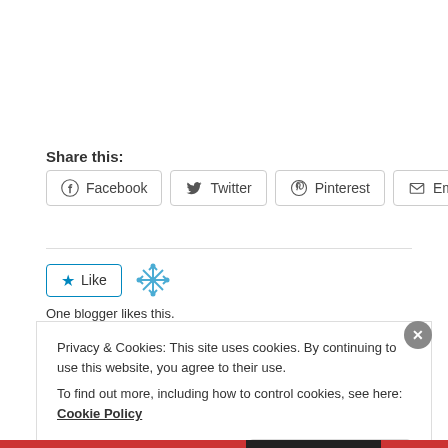Share this:
Facebook  Twitter  Pinterest  Email
[Figure (other): Like button with star icon and blogger snowflake avatar icon]
One blogger likes this.
Privacy & Cookies: This site uses cookies. By continuing to use this website, you agree to their use. To find out more, including how to control cookies, see here: Cookie Policy
Close and accept